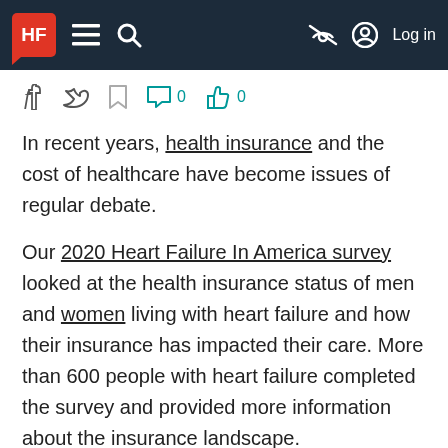HF [navigation bar with hamburger menu, search, and Log in]
In recent years, health insurance and the cost of healthcare have become issues of regular debate.
Our 2020 Heart Failure In America survey looked at the health insurance status of men and women living with heart failure and how their insurance has impacted their care. More than 600 people with heart failure completed the survey and provided more information about the insurance landscape.